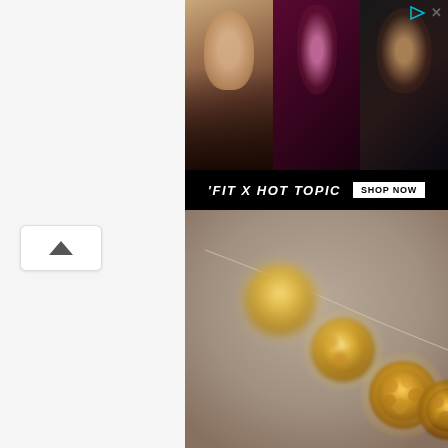[Figure (photo): Advertisement banner for 'FIT X HOT TOPIC' showing three celebrity/fashion photos with a 'SHOP NOW' button, with play and close icons in the top right corner]
[Figure (photo): Product photo showing decorative golden ball string lights hanging against a beige/taupe background, with bokeh blur effect on the ornamental lantern balls]